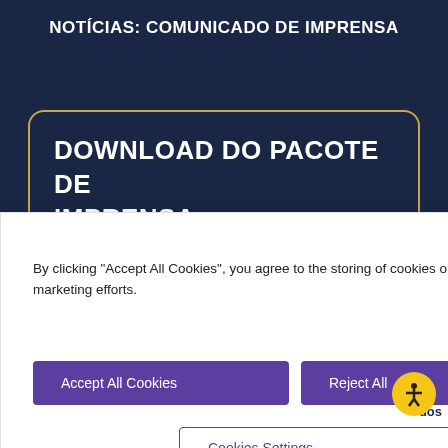NOTÍCIAS: COMUNICADO DE IMPRENSA
DOWNLOAD DO PACOTE DE IMPRENSA
By clicking "Accept All Cookies", you agree to the storing of cookies on your device to enhance site navigation, analyze site usage, and assist in our marketing efforts.
Accept All Cookies
Reject All
Cookies Settings
compras. Use antes libra esterlina. Dispensar